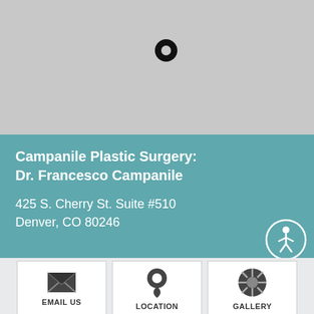[Figure (map): Gray map background with a black location marker pin near the center-top of the map area]
Campanile Plastic Surgery:
Dr. Francesco Campanile
425 S. Cherry St. Suite #510
Denver, CO 80246
[Figure (infographic): Accessibility icon - white circle with person/wheelchair symbol on teal background]
[Figure (infographic): Three action buttons at the bottom: EMAIL US (envelope icon), LOCATION (map pin icon), GALLERY (camera aperture icon)]